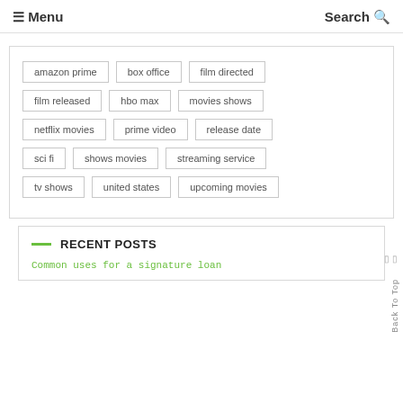☰ Menu   Search 🔍
amazon prime | box office | film directed | film released | hbo max | movies shows | netflix movies | prime video | release date | sci fi | shows movies | streaming service | tv shows | united states | upcoming movies
RECENT POSTS
Common uses for a signature loan